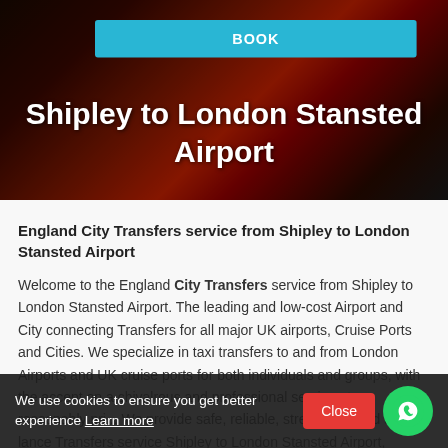[Figure (photo): Hero banner with blurred red London double-decker bus background and dark overlay, showing a 'BOOK' button and title 'Shipley to London Stansted Airport']
Shipley to London Stansted Airport
England City Transfers service from Shipley to London Stansted Airport
Welcome to the England City Transfers service from Shipley to London Stansted Airport. The leading and low-cost Airport and City connecting Transfers for all major UK airports, Cruise Ports and Cities. We specialize in taxi transfers to and from London Airports and UK cruise ports for both individuals and groups, with the accent on a chivalrous and professional service at a reasonably pri... We provide safe, reliable, stress-free, and affo... lance Transfers service Shipley to London Stansted Airport, seaports and
We use cookies to ensure you get better experience Learn more